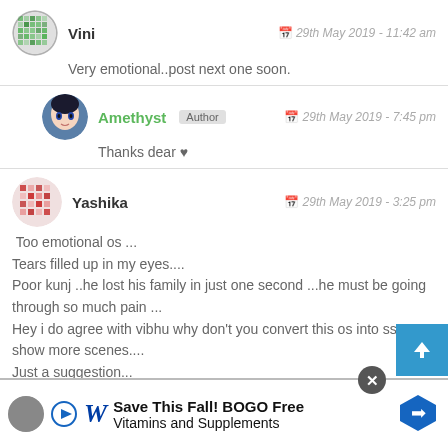[Figure (illustration): User avatar for Vini - green mosaic/crosshatch pattern circle]
Vini
29th May 2019 - 11:42 am
Very emotional..post next one soon.
[Figure (illustration): User avatar for Amethyst - anime character profile picture]
Amethyst Author
29th May 2019 - 7:45 pm
Thanks dear ♥
[Figure (illustration): User avatar for Yashika - red mosaic/grid pattern circle]
Yashika
29th May 2019 - 3:25 pm
Too emotional os ...
Tears filled up in my eyes....
Poor kunj ..he lost his family in just one second ...he must be going through so much pain ...
Hey i do agree with vibhu why don't you convert this os into ss ..& show more scenes....
Just a suggestion...
Post soon next one too ...
[Figure (screenshot): Advertisement banner: Save This Fall! BOGO Free Vitamins and Supplements - Walgreens ad with close button and navigation arrow]